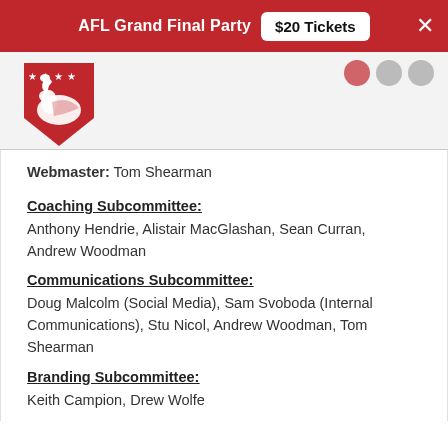AFL Grand Final Party  $20 Tickets  ×
[Figure (logo): Red swan/football club logo with four white stars on a red triangular shield background]
Webmaster: Tom Shearman
Coaching Subcommittee:
Anthony Hendrie, Alistair MacGlashan, Sean Curran, Andrew Woodman
Communications Subcommittee:
Doug Malcolm (Social Media), Sam Svoboda (Internal Communications), Stu Nicol, Andrew Woodman, Tom Shearman
Branding Subcommittee:
Keith Campion, Drew Wolfe